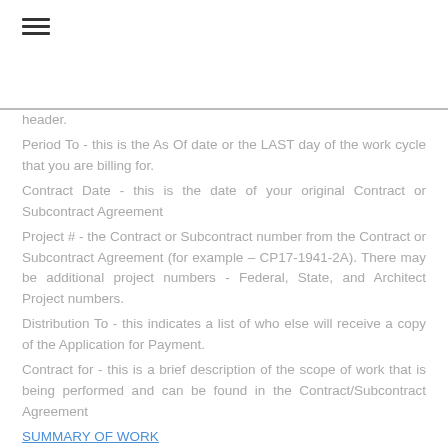header.
Period To - this is the As Of date or the LAST day of the work cycle that you are billing for.
Contract Date - this is the date of your original Contract or Subcontract Agreement
Project # - the Contract or Subcontract number from the Contract or Subcontract Agreement (for example – CP17-1941-2A). There may be additional project numbers - Federal, State, and Architect Project numbers.
Distribution To - this indicates a list of who else will receive a copy of the Application for Payment.
Contract for - this is a brief description of the scope of work that is being performed and can be found in the Contract/Subcontract Agreement
SUMMARY OF WORK
Line 1, Original Contract Sum - this is the price that the Contract or Subcontract Agreement was originally written for.